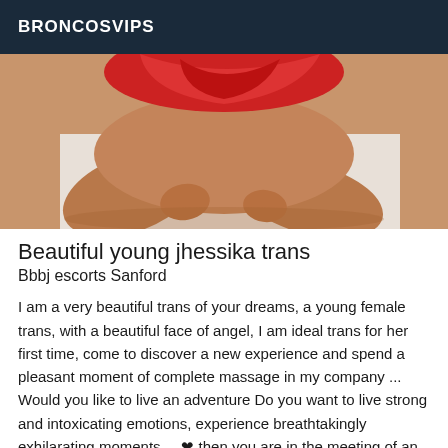BRONCOSVIPS
[Figure (photo): Close-up photo of a person lying down, wearing red lingerie, showing legs and torso against a white background.]
Beautiful young jhessika trans
Bbbj escorts Sanford
I am a very beautiful trans of your dreams, a young female trans, with a beautiful face of angel, I am ideal trans for her first time, come to discover a new experience and spend a pleasant moment of complete massage in my company ... Would you like to live an adventure Do you want to live strong and intoxicating emotions, experience breathtakingly exhilarating moments.... ❤ then you are in the meeting of an adorable companion a beautiful independent girl